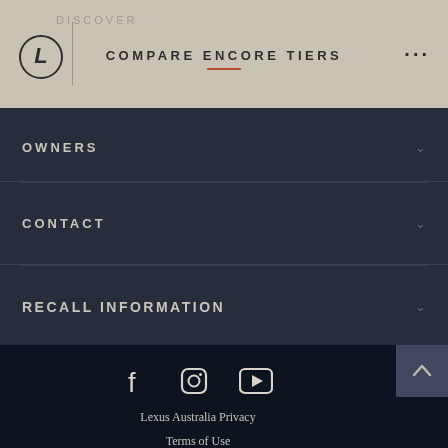COMPARE ENCORE TIERS
OWNERS
CONTACT
RECALL INFORMATION
Lexus Australia Privacy
Terms of Use
Lexus App Terms
General Privacy Something T...